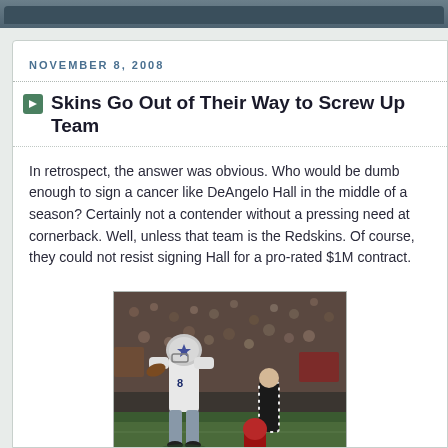NOVEMBER 8, 2008
Skins Go Out of Their Way to Screw Up Team
In retrospect, the answer was obvious. Who would be dumb enough to sign a cancer like DeAngelo Hall in the middle of a season? Certainly not a contender without a pressing need at cornerback. Well, unless that team is the Redskins. Of course, they could not resist signing Hall for a pro-rated $1M contract.
[Figure (photo): NFL football player in Dallas Cowboys uniform (white jersey, number 8x) catching or running with the ball on the field, with a referee in background and stadium crowd visible]